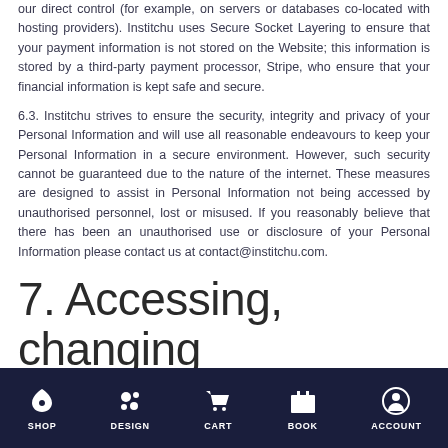our direct control (for example, on servers or databases co-located with hosting providers). Institchu uses Secure Socket Layering to ensure that your payment information is not stored on the Website; this information is stored by a third-party payment processor, Stripe, who ensure that your financial information is kept safe and secure.
6.3. Institchu strives to ensure the security, integrity and privacy of your Personal Information and will use all reasonable endeavours to keep your Personal Information in a secure environment. However, such security cannot be guaranteed due to the nature of the internet. These measures are designed to assist in Personal Information not being accessed by unauthorised personnel, lost or misused. If you reasonably believe that there has been an unauthorised use or disclosure of your Personal Information please contact us at contact@institchu.com.
7. Accessing, changing
SHOP DESIGN CART BOOK ACCOUNT